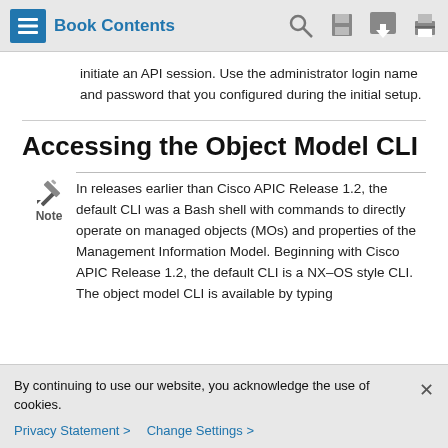Book Contents
initiate an API session. Use the administrator login name and password that you configured during the initial setup.
Accessing the Object Model CLI
Note — In releases earlier than Cisco APIC Release 1.2, the default CLI was a Bash shell with commands to directly operate on managed objects (MOs) and properties of the Management Information Model. Beginning with Cisco APIC Release 1.2, the default CLI is a NX-OS style CLI. The object model CLI is available by typing
By continuing to use our website, you acknowledge the use of cookies.
Privacy Statement > Change Settings >